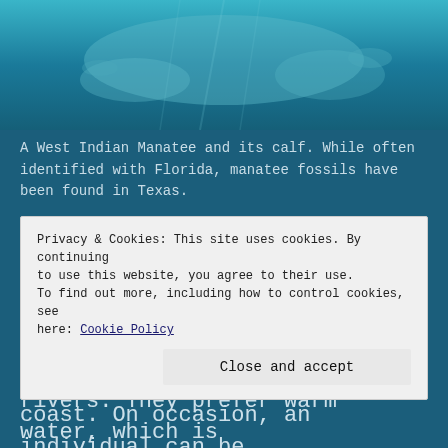[Figure (photo): A West Indian Manatee and its calf underwater, teal/blue water background]
A West Indian Manatee and its calf. While often identified with Florida, manatee fossils have been found in Texas.
Today, manatees can be found in the United States. They are primarily found in Florida, along the coasts and in some rivers. They prefer warm water, which is
Privacy & Cookies: This site uses cookies. By continuing to use this website, you agree to their use.
To find out more, including how to control cookies, see here: Cookie Policy
coast. On occasion, an individual can be